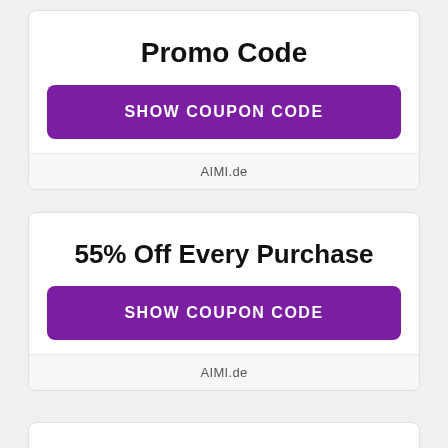Promo Code
SHOW COUPON CODE
AIMI.de
55% Off Every Purchase
SHOW COUPON CODE
AIMI.de
Receive 20% Off Wit...